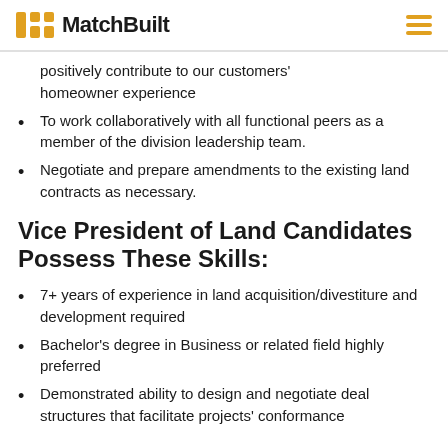MatchBuilt
positively contribute to our customers' homeowner experience
To work collaboratively with all functional peers as a member of the division leadership team.
Negotiate and prepare amendments to the existing land contracts as necessary.
Vice President of Land Candidates Possess These Skills:
7+ years of experience in land acquisition/divestiture and development required
Bachelor's degree in Business or related field highly preferred
Demonstrated ability to design and negotiate deal structures that facilitate projects' conformance